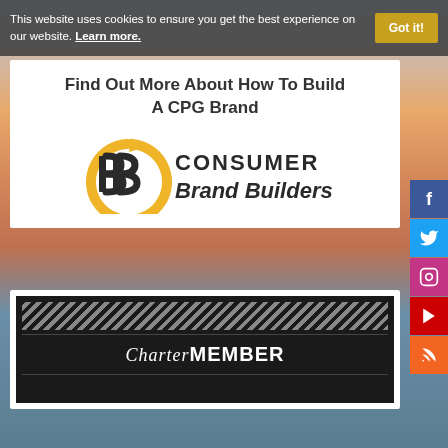This website uses cookies to ensure you get the best experience on our website. Learn more.
[Figure (screenshot): Cookie consent banner with 'Got it!' button on dark grey background]
[Figure (logo): Consumer Brand Builders logo with CBB monogram in gold/dark on white card with title 'Find Out More About How To Build A CPG Brand']
[Figure (other): Charter Member badge/card on black background with diagonal stripe pattern]
[Figure (other): Social media sidebar icons: Facebook, Twitter, Instagram, YouTube, RSS]